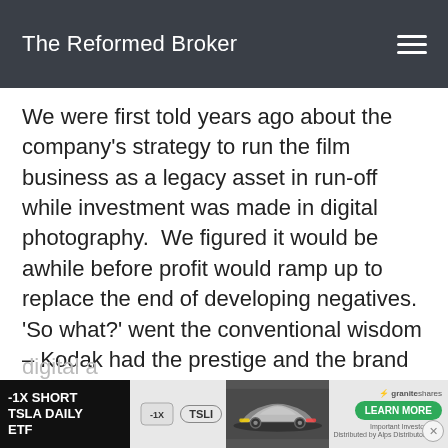The Reformed Broker
We were first told years ago about the company's strategy to run the film business as a legacy asset in run-off while investment was made in digital photography.  We figured it would be awhile before profit would ramp up to replace the end of developing negatives.  'So what?' went the conventional wisdom – Kodak had the prestige and the brand name to one day dominate digital, so it would be worth the wait. The deep value managers parked themselves in the stock and watched as a parade of executive losers missed every single opportunity to leverage the brand and technology into a profitable business for the digital a…
[Figure (advertisement): -1X SHORT TSLA DAILY ETF advertisement with car image and LEARN MORE button from GraniteShares]